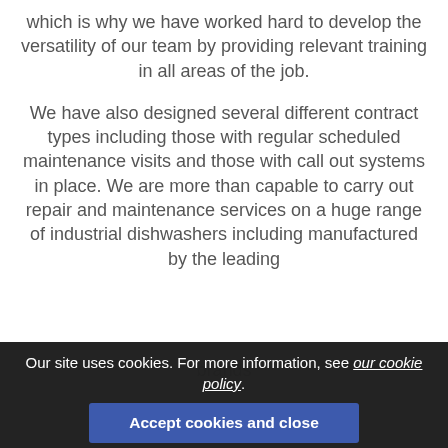which is why we have worked hard to develop the versatility of our team by providing relevant training in all areas of the job.
We have also designed several different contract types including those with regular scheduled maintenance visits and those with call out systems in place. We are more than capable to carry out repair and maintenance services on a huge range of industrial dishwashers including manufactured by the leading brands
Our site uses cookies. For more information, see our cookie policy.
Accept cookies and close
Reject cookies
Manage settings
SERVICE
Catering Equipment Repair Service in Colchester, Essex
Does your catering equipment require reliable